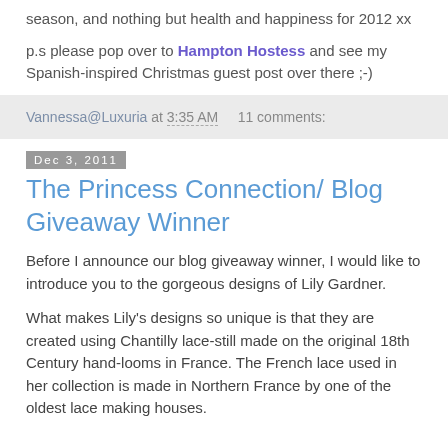season, and nothing but health and happiness for 2012 xx
p.s please pop over to Hampton Hostess and see my Spanish-inspired Christmas guest post over there ;-)
Vannessa@Luxuria at 3:35 AM    11 comments:
Dec 3, 2011
The Princess Connection/ Blog Giveaway Winner
Before I announce our blog giveaway winner, I would like to introduce you to the gorgeous designs of Lily Gardner.
What makes Lily's designs so unique is that they are created using Chantilly lace-still made on the original 18th Century hand-looms in France. The French lace used in her collection is made in Northern France by one of the oldest lace making houses.